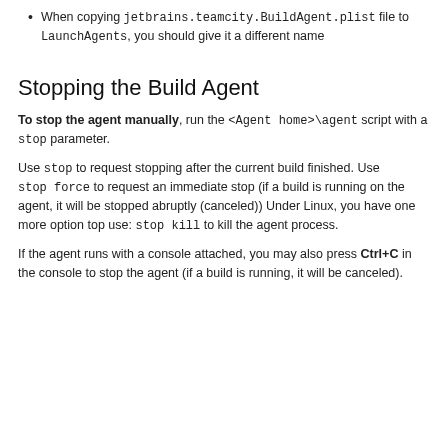When copying jetbrains.teamcity.BuildAgent.plist file to LaunchAgents, you should give it a different name
Stopping the Build Agent
To stop the agent manually, run the <Agent home>\agent script with a stop parameter.
Use stop to request stopping after the current build finished. Use stop force to request an immediate stop (if a build is running on the agent, it will be stopped abruptly (canceled)) Under Linux, you have one more option top use: stop kill to kill the agent process.
If the agent runs with a console attached, you may also press Ctrl+C in the console to stop the agent (if a build is running, it will be canceled).